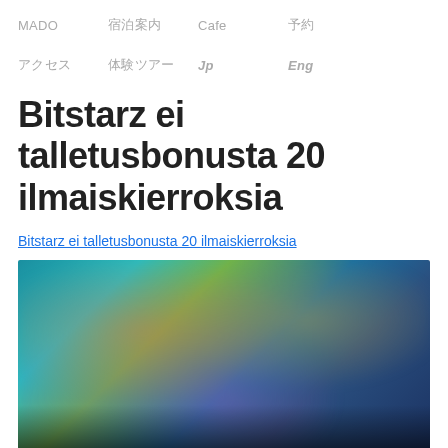MADO　宿泊案内　Cafe　予約
アクセス　体験ツアー　Jp　Eng
Bitstarz ei talletusbonusta 20 ilmaiskierroksia
Bitstarz ei talletusbonusta 20 ilmaiskierroksia
[Figure (screenshot): Blurred screenshot of a gaming or casino website showing colorful characters and game tiles]